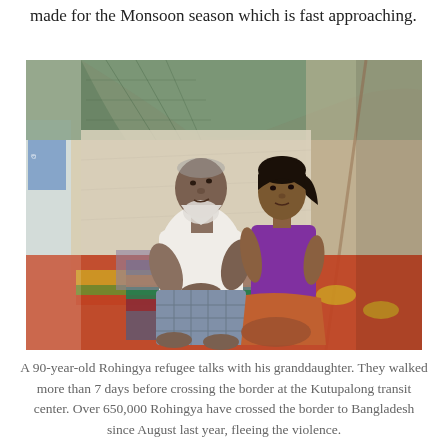made for the Monsoon season which is fast approaching.
[Figure (photo): An elderly Rohingya man in a white shirt sits cross-legged on colorful mats inside a tent, talking with a young girl in a purple top and orange skirt. The tent interior shows green netting and fabric walls.]
A 90-year-old Rohingya refugee talks with his granddaughter. They walked more than 7 days before crossing the border at the Kutupalong transit center. Over 650,000 Rohingya have crossed the border to Bangladesh since August last year, fleeing the violence.